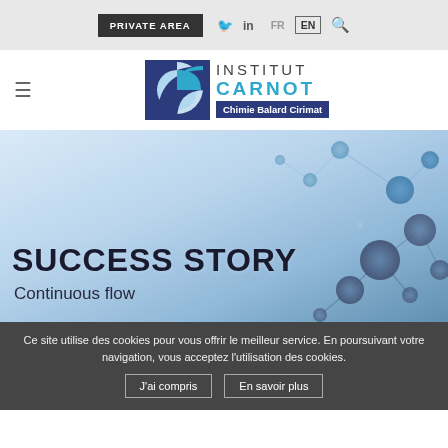PRIVATE AREA | Twitter | LinkedIn | FR | EN | Search
[Figure (logo): Institut Carnot Chimie Balard Cirimat logo with graphic emblem]
[Figure (photo): Abstract blue molecular structure background image with SUCCESS STORY and Continuous flow text overlay]
SUCCESS STORY
Continuous flow
Ce site utilise des cookies pour vous offrir le meilleur service. En poursuivant votre navigation, vous acceptez l'utilisation des cookies.
J'ai compris | En savoir plus